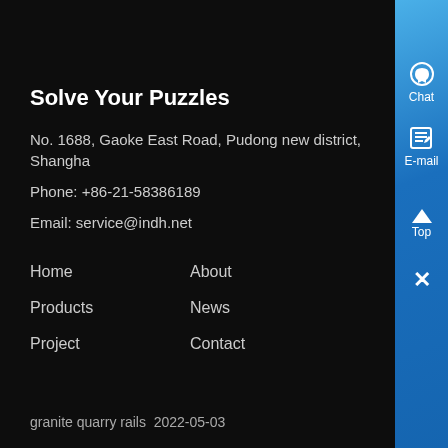Solve Your Puzzles
No. 1688, Gaoke East Road, Pudong new district, Shanghai
Phone: +86-21-58386189
Email: service@indh.net
Home
About
Products
News
Project
Contact
granite quarry rails  2022-05-03